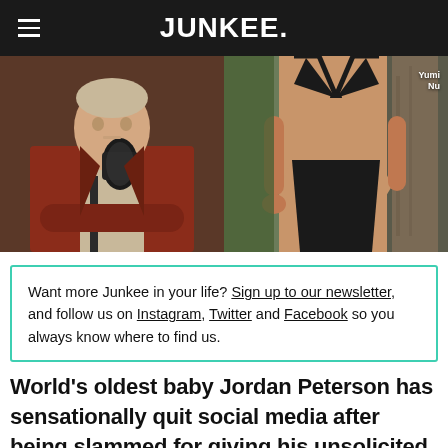JUNKEE.
[Figure (photo): Two side-by-side photos: left shows a man in a brown/rust jacket seated with a podcast microphone; right shows a woman in a black bikini/swimsuit standing outdoors with a watermark reading 'Yumi Nu']
Want more Junkee in your life? Sign up to our newsletter, and follow us on Instagram, Twitter and Facebook so you always know where to find us.
World's oldest baby Jordan Peterson has sensationally quit social media after being slammed for giving his unsolicited opinion on a Sports